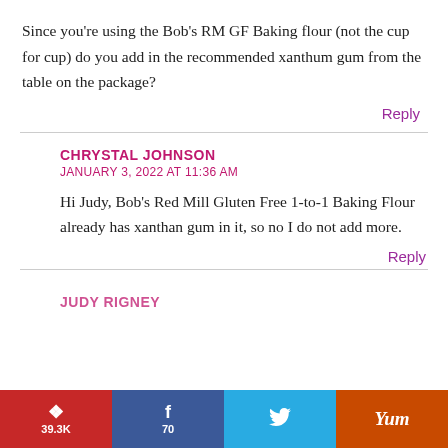Since you're using the Bob's RM GF Baking flour (not the cup for cup) do you add in the recommended xanthum gum from the table on the package?
Reply
CHRYSTAL JOHNSON
JANUARY 3, 2022 AT 11:36 AM
Hi Judy, Bob's Red Mill Gluten Free 1-to-1 Baking Flour already has xanthan gum in it, so no I do not add more.
Reply
JUDY RIGNEY
39.3K  70  (Twitter icon)  Yum